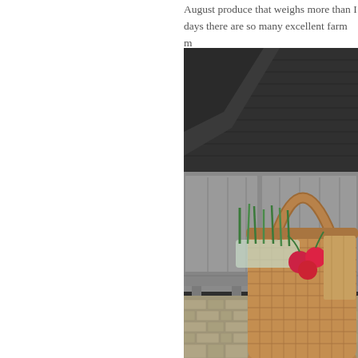August produce that weighs more than I days there are so many excellent farm m that I haven't been downtown to the big m
[Figure (photo): A wicker basket filled with fresh market produce including green vegetables and red radishes, placed on a herringbone brick patio in front of a weathered grey wooden bench, with a dark grey building exterior in the background.]